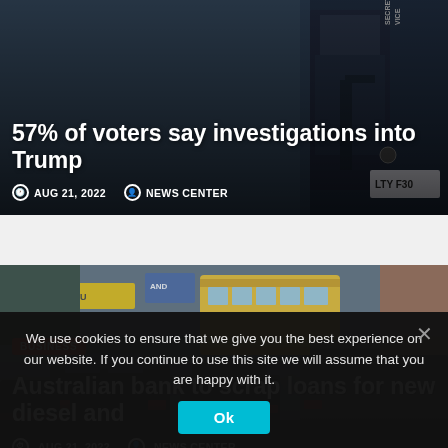[Figure (photo): News article card showing law enforcement officers with weapons in background, dark overlay with white text. Top card on news website.]
57% of voters say investigations into Trump
AUG 21, 2022   NEWS CENTER
[Figure (photo): News article card showing traffic jam with cars and a yellow bus, dark overlay. Business category badge visible. Bottom card on news website.]
BUSINESS
Australian bank to scrap loans for new diesel and
AUG 21, 2022   NEWS CENTER
We use cookies to ensure that we give you the best experience on our website. If you continue to use this site we will assume that you are happy with it.
Ok